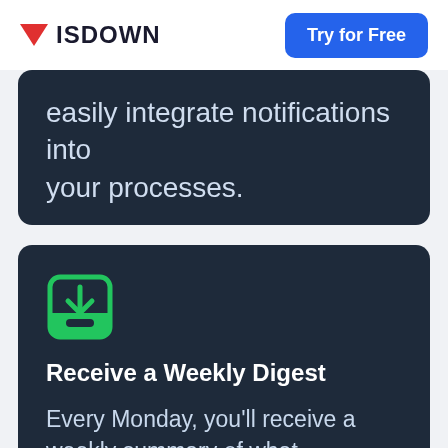ISDOWN | Try for Free
easily integrate notifications into your processes.
[Figure (illustration): Green inbox/tray icon with a downward arrow, indicating receiving messages or downloads]
Receive a Weekly Digest
Every Monday, you'll receive a weekly summary of what happened the previous week as well as the maintenance schedule for the